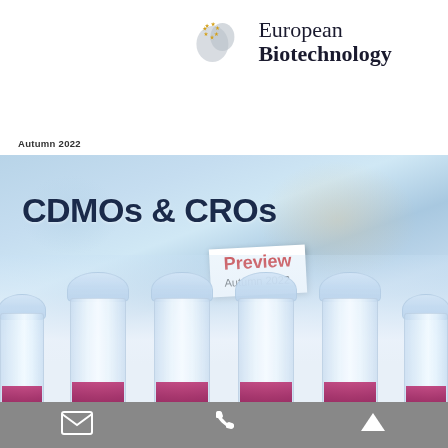[Figure (logo): European Biotechnology magazine logo with EU star map icon in gold/grey]
Autumn 2022
[Figure (photo): Cover image of pharmaceutical vials/tubes with pink/magenta bottoms against a blue/light background, with CDMOs & CROs headline and Preview Autumn 2022 badge overlay]
Toolbar with email, phone, and up-arrow icons